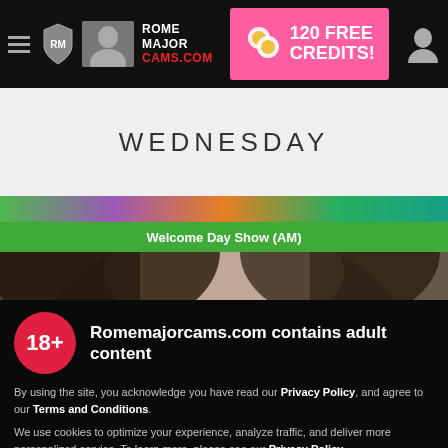ROME MAJOR CAMS.COM — 120 FREE CREDITS!
WEDNESDAY
Welcome Day Show (AM)
[Figure (photo): Close-up photo of a woman's face with dark hair]
Romemajorcams.com contains adult content
By using the site, you acknowledge you have read our Privacy Policy, and agree to our Terms and Conditions.
We use cookies to optimize your experience, analyze traffic, and deliver more personalized service. To learn more, please see our Privacy Policy.
I AGREE